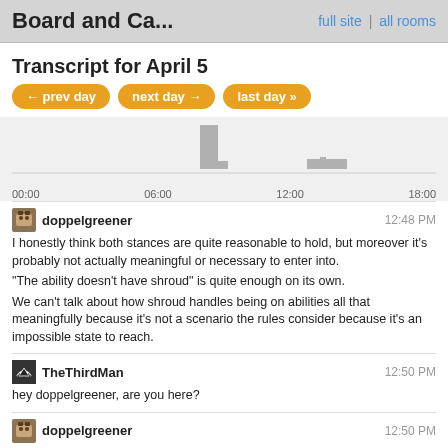Board and Ca... | full site | all rooms
Transcript for April 5
[Figure (bar-chart): Bar chart showing chat activity by time of day. Bars around 12:00 and 18:00 time slots.]
doppelgreener 12:48 PM
I honestly think both stances are quite reasonable to hold, but moreover it's probably not actually meaningful or necessary to enter into.
"The ability doesn't have shroud" is quite enough on its own.
We can't talk about how shroud handles being on abilities all that meaningfully because it's not a scenario the rules consider because it's an impossible state to reach.
TheThirdMan 12:50 PM
hey doppelgreener, are you here?
doppelgreener 12:50 PM
If that ever became possible, we'd see the rules be adjusted.
@TheThirdMan Hi! I am.
(It's quite good to point out that creature spells for cards with shroud can still be targeted and countered, though.)